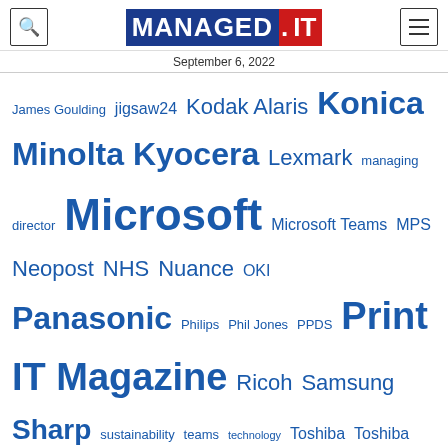MANAGED.IT — September 6, 2022
James Goulding jigsaw24 Kodak Alaris Konica Minolta Kyocera Lexmark managing director Microsoft Microsoft Teams MPS Neopost NHS Nuance OKI Panasonic Philips Phil Jones PPDS Print IT Magazine Ricoh Samsung Sharp sustainability teams technology Toshiba Toshiba TEC ViewSonic Xerox
[Figure (photo): Flexible Group logo on a dark cloudy background with orange/pink dot pattern on left side]